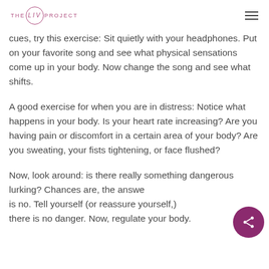THE LIV PROJECT
cues, try this exercise: Sit quietly with your headphones. Put on your favorite song and see what physical sensations come up in your body. Now change the song and see what shifts.
A good exercise for when you are in distress: Notice what happens in your body. Is your heart rate increasing? Are you having pain or discomfort in a certain area of your body? Are you sweating, your fists tightening, or face flushed?
Now, look around: is there really something dangerous lurking? Chances are, the answer is no. Tell yourself (or reassure yourself,) there is no danger. Now, regulate your body.